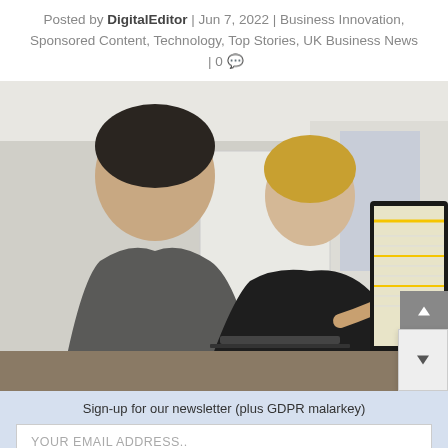Posted by DigitalEditor | Jun 7, 2022 | Business Innovation, Sponsored Content, Technology, Top Stories, UK Business News | 0 💬
[Figure (photo): Two people, one in a dark grey shirt and one in a black shirt, looking at a large monitor with spreadsheet/table data. The person in black is pointing at the screen. Office or workshop environment.]
Sign-up for our newsletter (plus GDPR malarkey)
YOUR EMAIL ADDRESS..
SUBSCRIBE